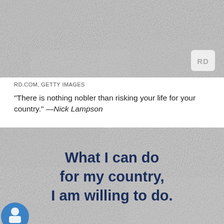[Figure (photo): Gray textured stone/concrete background image with RD logo badge in bottom right corner]
RD.COM, GETTY IMAGES
“There is nothing nobler than risking your life for your country.” —Nick Lampson
[Figure (infographic): Gray textured stone/concrete background with dark navy bold text reading: What I can do for my country, I am willing to do. Blue circular icon with figure in bottom left corner.]